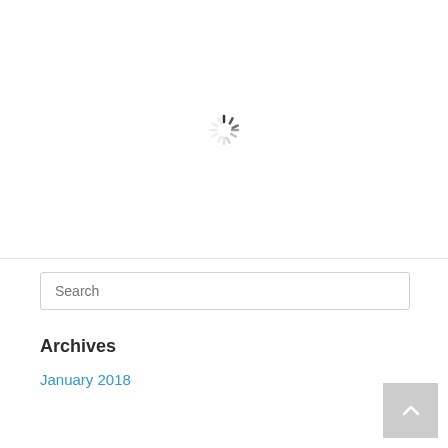[Figure (other): A spinning loading indicator (spinner) centered in the upper portion of the page, rendered as radiating line segments in varying shades of gray to black.]
Search
Archives
January 2018